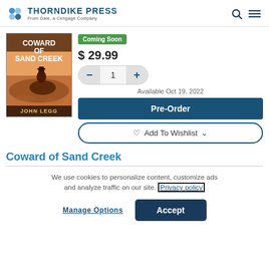THORNDIKE PRESS From Gale, a Cengage Company
[Figure (illustration): Book cover of 'Coward of Sand Creek' by John Legg showing a cowboy on horseback]
Coming Soon
$ 29.99
1
Available Oct 19, 2022
Pre-Order
Add To Wishlist
Coward of Sand Creek
We use cookies to personalize content, customize ads and analyze traffic on our site. Privacy policy
Manage Options
Accept